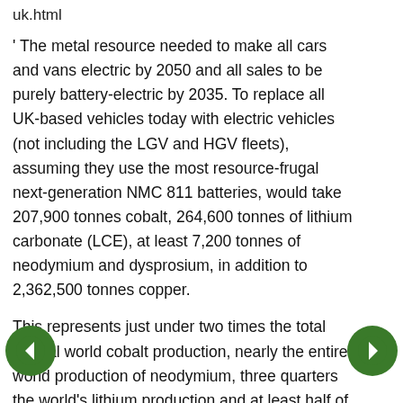uk.html
' The metal resource needed to make all cars and vans electric by 2050 and all sales to be purely battery-electric by 2035. To replace all UK-based vehicles today with electric vehicles (not including the LGV and HGV fleets), assuming they use the most resource-frugal next-generation NMC 811 batteries, would take 207,900 tonnes cobalt, 264,600 tonnes of lithium carbonate (LCE), at least 7,200 tonnes of neodymium and dysprosium, in addition to 2,362,500 tonnes copper.
This represents just under two times the total annual world cobalt production, nearly the entire world production of neodymium, three quarters the world's lithium production and at least half of the world's copper production during 2018. Even ensuring the annual supply of electric vehicles only, from 2035 as pledged, will require the UK to annually import the equivalent of the entire annual cobalt needs of European industry.
The worldwide impact: If this analysis is extrapolated to